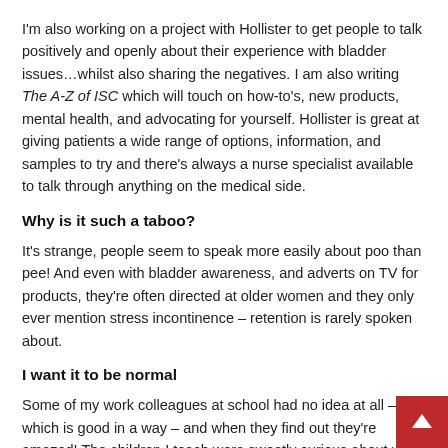I'm also working on a project with Hollister to get people to talk positively and openly about their experience with bladder issues…whilst also sharing the negatives. I am also writing The A-Z of ISC which will touch on how-to's, new products, mental health, and advocating for yourself. Hollister is great at giving patients a wide range of options, information, and samples to try and there's always a nurse specialist available to talk through anything on the medical side.
Why is it such a taboo?
It's strange, people seem to speak more easily about poo than pee! And even with bladder awareness, and adverts on TV for products, they're often directed at older women and they only ever mention stress incontinence – retention is rarely spoken about.
I want it to be normal
Some of my work colleagues at school had no idea at all – which is good in a way – and when they find out they're amazed! The children I teach were sweetly curious about why I used to go into the bathroom with a bag, so I arranged an assembly about it, and now they know everything and it doesn't seem like a big deal to them. One child has had a bladder issue from birth and we chat about it easily, and I can